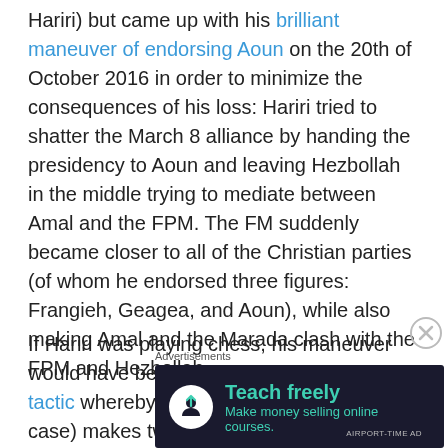Hariri) but came up with his brilliant maneuver of endorsing Aoun on the 20th of October 2016 in order to minimize the consequences of his loss: Hariri tried to shatter the March 8 alliance by handing the presidency to Aoun and leaving Hezbollah in the middle trying to mediate between Amal and the FPM. The FM suddenly became closer to all of the Christian parties (of whom he endorsed three figures: Frangieh, Geagea, and Aoun), while also making Amal and the Marada clash with the FPM and Hezbollah.
If Hariri was playing chess, his maneuver would have been called forking: A fork is a tactic whereby a single piece (Hariri in this case) makes two or more direct
[Figure (other): Advertisement banner for an online course platform reading 'Teach freely - Make money selling online courses.' with dark background and teal text, with a person/upload icon.]